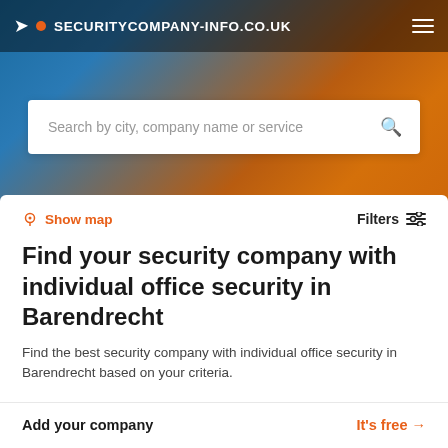SECURITYCOMPANY-INFO.CO.UK
Search by city, company name or service
Show map
Filters
Find your security company with individual office security in Barendrecht
Find the best security company with individual office security in Barendrecht based on your criteria.
Add your company
It's free →